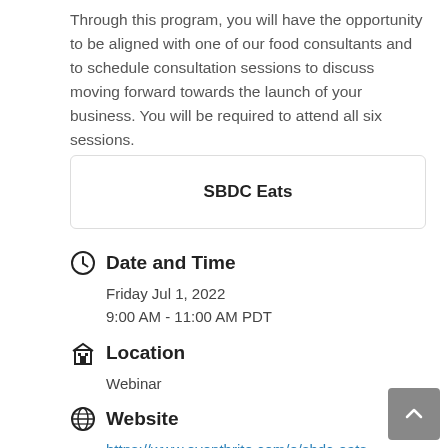Through this program, you will have the opportunity to be aligned with one of our food consultants and to schedule consultation sessions to discuss moving forward towards the launch of your business. You will be required to attend all six sessions.
SBDC Eats
Date and Time
Friday Jul 1, 2022
9:00 AM - 11:00 AM PDT
Location
Webinar
Website
https://www.eventbrite.com/e/sbdc-eats-